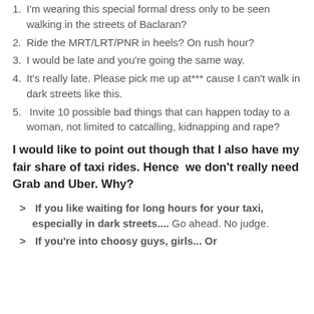1. I'm wearing this special formal dress only to be seen walking in the streets of Baclaran?
2. Ride the MRT/LRT/PNR in heels? On rush hour?
3. I would be late and you're going the same way.
4. It's really late. Please pick me up at*** cause I can't walk in dark streets like this.
5. Invite 10 possible bad things that can happen today to a woman, not limited to catcalling, kidnapping and rape?
I would like to point out though that I also have my fair share of taxi rides. Hence  we don't really need Grab and Uber. Why?
> If you like waiting for long hours for your taxi, especially in dark streets.... Go ahead. No judge.
> If you're into choosy guys, girls... Or